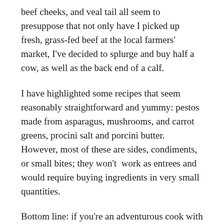beef cheeks, and veal tail all seem to presuppose that not only have I picked up fresh, grass-fed beef at the local farmers' market, I've decided to splurge and buy half a cow, as well as the back end of a calf.
I have highlighted some recipes that seem reasonably straightforward and yummy: pestos made from asparagus, mushrooms, and carrot greens, procini salt and porcini butter. However, most of these are sides, condiments, or small bites; they won't  work as entrees and would require buying ingredients in very small quantities.
Bottom line: if you're an adventurous cook with a cutting-edge kitchen and you enjoy devoting hours to getting a complicated dish just right, you'll enjoy this book. If you're someone looking for fresh, fast meals for yourself and your family, you're only going to find about a quarter of the book's 100+ pages of these...